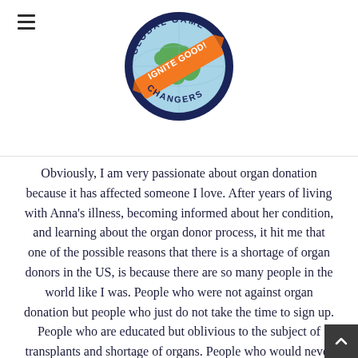[Figure (logo): Global Game Changers - Ignite Good! circular logo with globe and orange banner]
Obviously, I am very passionate about organ donation because it has affected someone I love. After years of living with Anna's illness, becoming informed about her condition, and learning about the organ donor process, it hit me that one of the possible reasons that there is a shortage of organ donors in the US, is because there are so many people in the world like I was. People who were not against organ donation but people who just do not take the time to sign up. People who are educated but oblivious to the subject of transplants and shortage of organs. People who would never have tragedy strike, people who were invincible.